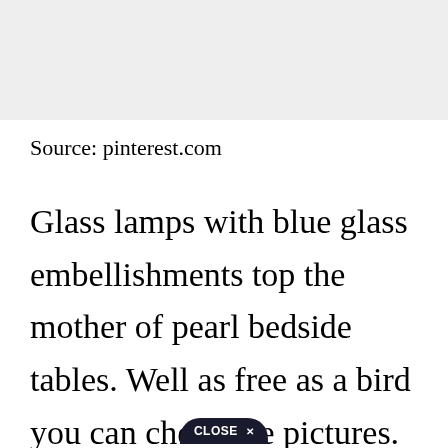[Figure (photo): Gray placeholder image area at top of page]
Source: pinterest.com
Glass lamps with blue glass embellishments top the mother of pearl bedside tables. Well as free as a bird you can check the pictures. You can find bedroom sets in queen size for kids and adults based on your own ideas about designs and styles. Meanwhile you will find blue in Union Jack as well as red a renowned Aston Martin. The glass